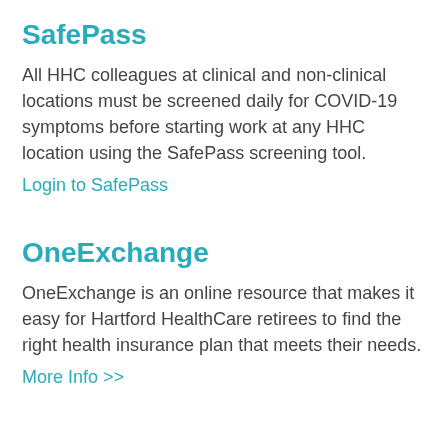SafePass
All HHC colleagues at clinical and non-clinical locations must be screened daily for COVID-19 symptoms before starting work at any HHC location using the SafePass screening tool.
Login to SafePass
OneExchange
OneExchange is an online resource that makes it easy for Hartford HealthCare retirees to find the right health insurance plan that meets their needs.
More Info >>